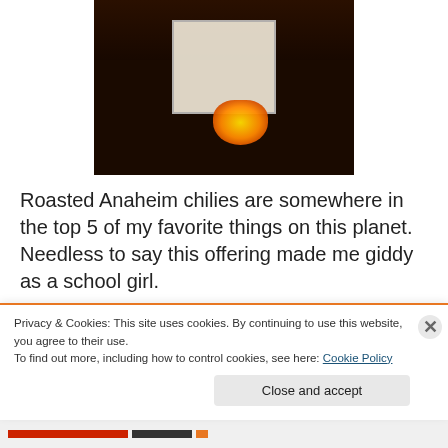[Figure (photo): Dark restaurant/bar scene with a glowing orange candle or flame-lit object next to a white menu card on a table]
Roasted Anaheim chilies are somewhere in the top 5 of my favorite things on this planet. Needless to say this offering made me giddy as a school girl.
Not to be outdone, Erin whipped up two cold weather
Privacy & Cookies: This site uses cookies. By continuing to use this website, you agree to their use.
To find out more, including how to control cookies, see here: Cookie Policy
Close and accept